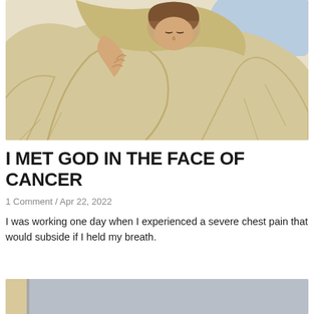[Figure (illustration): Illustration of a person lying in bed, holding a blanket up to their face, appearing unwell. Warm beige and brown tones with blue pillow visible in background.]
I MET GOD IN THE FACE OF CANCER
1 Comment / Apr 22, 2022
I was working one day when I experienced a severe chest pain that would subside if I held my breath.
[Figure (photo): Partial view of a second image at the bottom of the page, appears to show an interior space with gray and beige tones.]